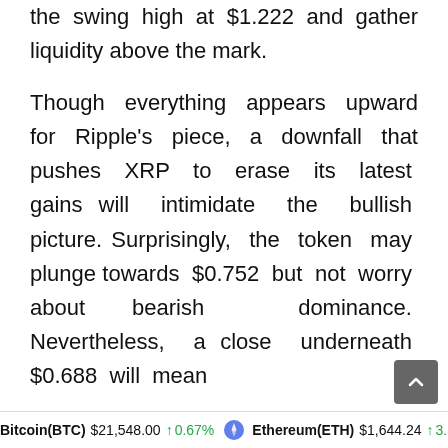the swing high at $1.222 and gather liquidity above the mark.
Though everything appears upward for Ripple's piece, a downfall that pushes XRP to erase its latest gains will intimidate the bullish picture. Surprisingly, the token may plunge towards $0.752 but not worry about bearish dominance. Nevertheless, a close underneath $0.688 will mean
Bitcoin(BTC) $21,548.00 ↑ 0.67%   Ethereum(ETH) $1,644.24 ↑ 3.56